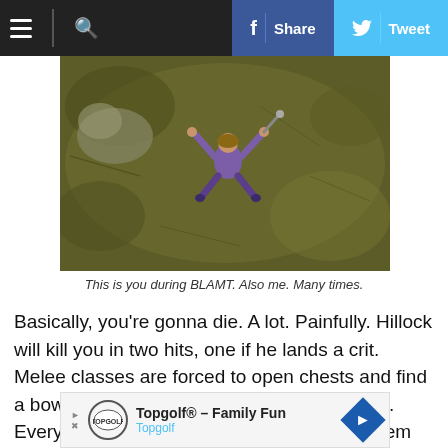≡ 🔍  f Share  🐦 Tweet
[Figure (screenshot): Top-down view of a video game character (wearing purple) falling or flying over a green-brown ground terrain. The character has arms and legs spread out.]
This is you during BLAMT. Also me. Many times.
Basically, you're gonna die. A lot. Painfully. Hillock will kill you in two hits, one if he lands a crit. Melee classes are forced to open chests and find a bow or wand in order to kite Hillock around. Every monster hits hard, and almost all of them stun you on every hit. Being stun locked is common, and you're even more likely to die because the mobs m
[Figure (other): Advertisement banner for Topgolf® - Family Fun, showing Topgolf logo and a blue navigation arrow icon.]